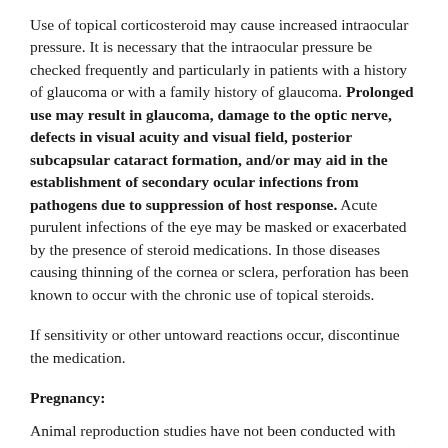Use of topical corticosteroid may cause increased intraocular pressure. It is necessary that the intraocular pressure be checked frequently and particularly in patients with a history of glaucoma or with a family history of glaucoma. Prolonged use may result in glaucoma, damage to the optic nerve, defects in visual acuity and visual field, posterior subcapsular cataract formation, and/or may aid in the establishment of secondary ocular infections from pathogens due to suppression of host response. Acute purulent infections of the eye may be masked or exacerbated by the presence of steroid medications. In those diseases causing thinning of the cornea or sclera, perforation has been known to occur with the chronic use of topical steroids.
If sensitivity or other untoward reactions occur, discontinue the medication.
Pregnancy:
Animal reproduction studies have not been conducted with FLAREX (Fluorometholone Acetate Ophthalmic Suspension). However, it has been